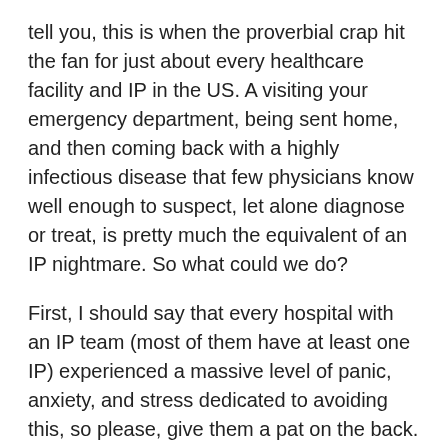tell you, this is when the proverbial crap hit the fan for just about every healthcare facility and IP in the US. A visiting your emergency department, being sent home, and then coming back with a highly infectious disease that few physicians know well enough to suspect, let alone diagnose or treat, is pretty much the equivalent of an IP nightmare. So what could we do?
First, I should say that every hospital with an IP team (most of them have at least one IP) experienced a massive level of panic, anxiety, and stress dedicated to avoiding this, so please, give them a pat on the back. I am fortunate that my IP team consists of not only enthusiastic, ridiculously talented and intelligent people, but they know how to respond to crisis in the flip of a switch. We quickly pulled together a committee to encompass all people that would play a